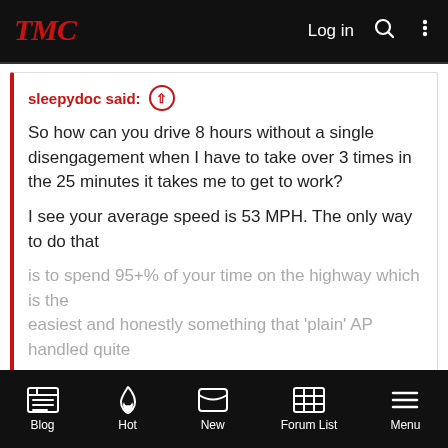TMC | Log in
sleepydoc said: ↑

So how can you drive 8 hours without a single disengagement when I have to take over 3 times in the 25 minutes it takes me to get to work?

I see your average speed is 53 MPH. The only way to do that is to spend 95+% of your time on the highway which is the easiest and honestly something that 'plain' AP handled quite

Click to expand...
Raurele doesn't have FSD Beta. They're waiting as well...
Plain ole AP is what they're using.
Blog | Hot | New | Forum List | Menu